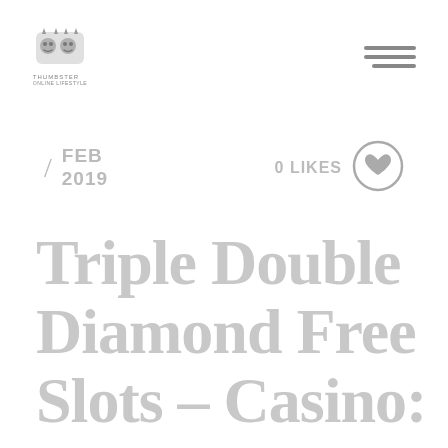[Figure (logo): Thumbster blog logo with illustrated character icon and 'THUMBSTER' text below]
[Figure (illustration): Hamburger menu icon — three horizontal grey lines stacked]
/ FEB 2019
0 LIKES
[Figure (illustration): Circle with heart icon inside — like/favourite button]
Triple Double Diamond Free Slots – Casino: 4 new games to try